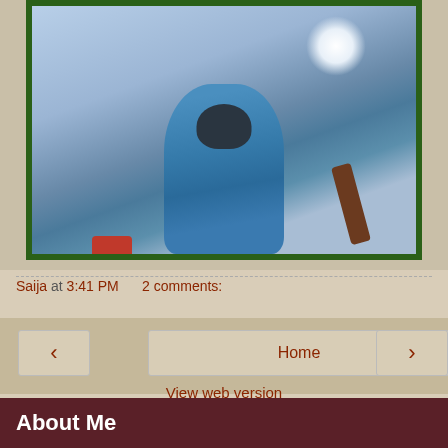[Figure (photo): A photo showing a person wearing a blue jacket photographed from below looking up, with snowy/sky background, a brown strap visible, and red element at bottom. Green border frame around the image.]
Saija at 3:41 PM    2 comments:
< Home >
View web version
About Me